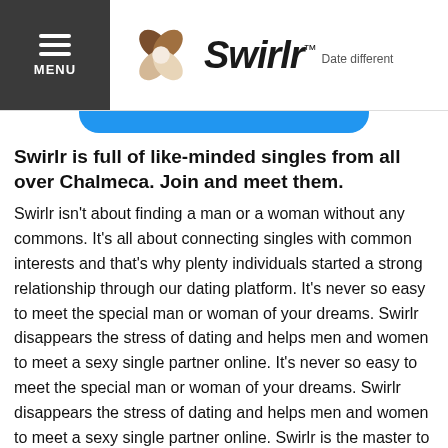MENU | Swirlr™ Date different
Swirlr is full of like-minded singles from all over Chalmeca. Join and meet them.
Swirlr isn't about finding a man or a woman without any commons. It's all about connecting singles with common interests and that's why plenty individuals started a strong relationship through our dating platform. It's never so easy to meet the special man or woman of your dreams. Swirlr disappears the stress of dating and helps men and women to meet a sexy single partner online. It's never so easy to meet the special man or woman of your dreams. Swirlr disappears the stress of dating and helps men and women to meet a sexy single partner online. Swirlr is the master to help singles falling in love. Connect with men or women online easily with a free registration. If you can't find a man or a woman by the traditional way don't worry because you are not the only one. This is the reason why so many singles join Swirlr every day! If you want to meet them join now!